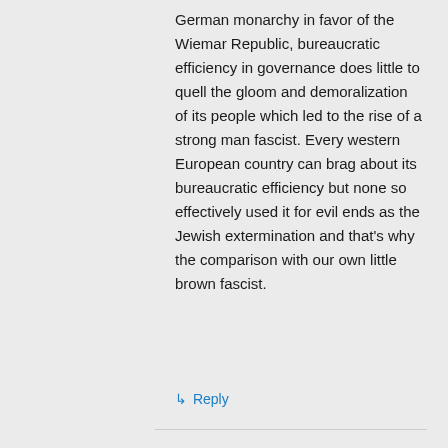German monarchy in favor of the Wiemar Republic, bureaucratic efficiency in governance does little to quell the gloom and demoralization of its people which led to the rise of a strong man fascist. Every western European country can brag about its bureaucratic efficiency but none so effectively used it for evil ends as the Jewish extermination and that's why the comparison with our own little brown fascist.
↳ Reply